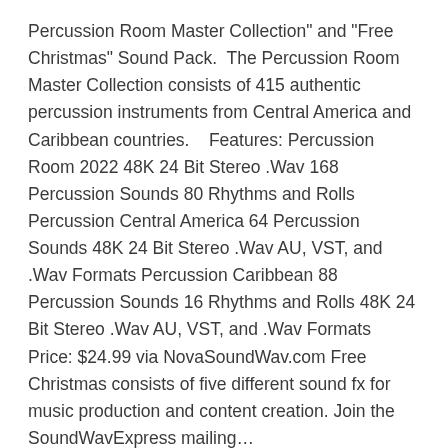Percussion Room Master Collection" and "Free Christmas" Sound Pack.  The Percussion Room Master Collection consists of 415 authentic percussion instruments from Central America and Caribbean countries.    Features: Percussion Room 2022 48K 24 Bit Stereo .Wav 168  Percussion Sounds 80 Rhythms and Rolls Percussion Central America 64 Percussion Sounds 48K 24 Bit Stereo .Wav AU, VST, and .Wav Formats Percussion Caribbean 88 Percussion Sounds 16 Rhythms and Rolls 48K 24 Bit Stereo .Wav AU, VST, and .Wav Formats Price: $24.99 via NovaSoundWav.com Free Christmas consists of five different sound fx for music production and content creation. Join the SoundWavExpress mailing...
Read more